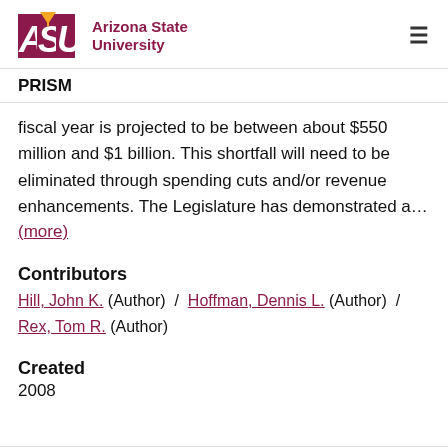Arizona State University / PRISM
fiscal year is projected to be between about $550 million and $1 billion. This shortfall will need to be eliminated through spending cuts and/or revenue enhancements. The Legislature has demonstrated a… (more)
Contributors
Hill, John K. (Author) / Hoffman, Dennis L. (Author) / Rex, Tom R. (Author)
Created
2008